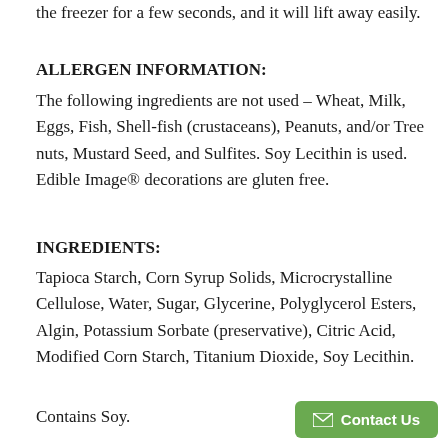the freezer for a few seconds, and it will lift away easily.
ALLERGEN INFORMATION:
The following ingredients are not used – Wheat, Milk, Eggs, Fish, Shell-fish (crustaceans), Peanuts, and/or Tree nuts, Mustard Seed, and Sulfites. Soy Lecithin is used. Edible Image® decorations are gluten free.
INGREDIENTS:
Tapioca Starch, Corn Syrup Solids, Microcrystalline Cellulose, Water, Sugar, Glycerine, Polyglycerol Esters, Algin, Potassium Sorbate (preservative), Citric Acid, Modified Corn Starch, Titanium Dioxide, Soy Lecithin.
Contains Soy.